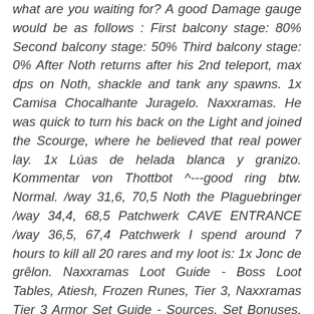what are you waiting for? A good Damage gauge would be as follows : First balcony stage: 80% Second balcony stage: 50% Third balcony stage: 0% After Noth returns after his 2nd teleport, max dps on Noth, shackle and tank any spawns. 1x Camisa Chocalhante Juragelo. Naxxramas. He was quick to turn his back on the Light and joined the Scourge, where he believed that real power lay. 1x Lúas de helada blanca y granizo. Kommentar von Thottbot ^---good ring btw. Normal. /way 31,6, 70,5 Noth the Plaguebringer /way 34,4, 68,5 Patchwerk CAVE ENTRANCE /way 36,5, 67,4 Patchwerk I spend around 7 hours to kill all 20 rares and my loot is: 1x Jonc de grêlon. Naxxramas Loot Guide - Boss Loot Tables, Atiesh, Frozen Runes, Tier 3, Naxxramas Tier 3 Armor Set Guide - Sources, Set Bonuses, Crafting Materials, Noth the Plaguebringer - WoW Classic Naxxramas Strategy Guide, WoW Classic Druid Armor/Tier